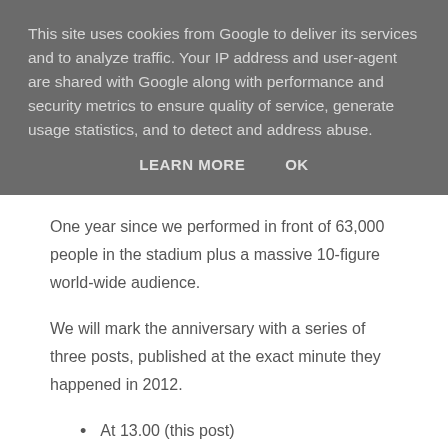This site uses cookies from Google to deliver its services and to analyze traffic. Your IP address and user-agent are shared with Google along with performance and security metrics to ensure quality of service, generate usage statistics, and to detect and address abuse.
LEARN MORE    OK
One year since we performed in front of 63,000 people in the stadium plus a massive 10-figure world-wide audience.
We will mark the anniversary with a series of three posts, published at the exact minute they happened in 2012.
At 13.00 (this post)
At 18.00
At 20.12